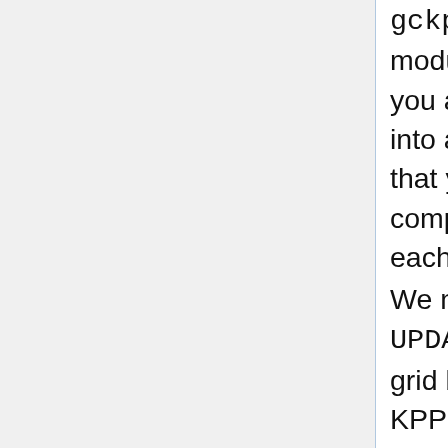gckpp_Integrator.F90 module). This assumes that you are not interfacing KPP into any other model, and that you will use KPP to compute the sun angles at each timestep.
We now call UPDATE_RCONST once per grid box before calling the KPP integrator. Also, because we use FAST-JX to get the photo rates, we no longer need to call UPDATE_SUN. These duplicate calls were causing a performance bottleneck, as UPDATE_RCONST was being called more than 7